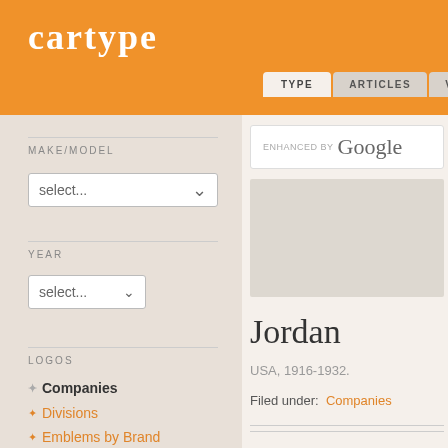cartype
TYPE  ARTICLES  VEHICLES
MAKE/MODEL
select...
YEAR
select...
LOGOS
Companies
Divisions
Emblems by Brand
Hood Ornaments by Brand
Tuners
Gas Stations
Miscellaneous
MARKETING
Ads
Jordan
USA, 1916-1932.
Filed under:  Companies
The Jordan Motor Car Company was founded by Ned Jordan, a former advertising executive from Cleveland. The factory produced cars until 1931 using components more for attractive styling than for advanced engineering, advertising was often more original than t